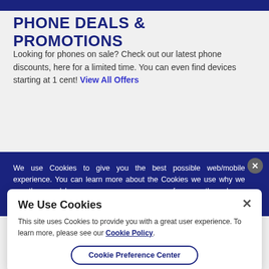PHONE DEALS & PROMOTIONS
Looking for phones on sale? Check out our latest phone discounts, here for a limited time. You can even find devices starting at 1 cent! View All Offers
We use Cookies to give you the best possible web/mobile experience. You can learn more about the Cookies we use why we use them and how you can manage your preferences through our Cookie policy. Cookie Settings
We Use Cookies
This site uses Cookies to provide you with a great user experience. To learn more, please see our Cookie Policy.
Cookie Preference Center